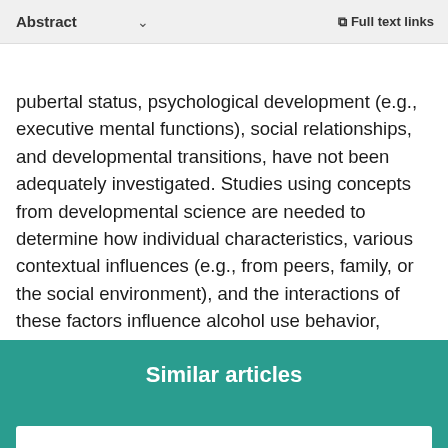Abstract  ∨  Full text links
studies of adults. Developmental factors that may directly influence adolescents' amenability to treatment, such as pubertal status, psychological development (e.g., executive mental functions), social relationships, and developmental transitions, have not been adequately investigated. Studies using concepts from developmental science are needed to determine how individual characteristics, various contextual influences (e.g., from peers, family, or the social environment), and the interactions of these factors influence alcohol use behavior, amenability to treatment, and treatment outcomes. Knowledge gained in studies directly examining developmental factors should help in the design of more effective treatment programs with lower relapse rates.
Similar articles